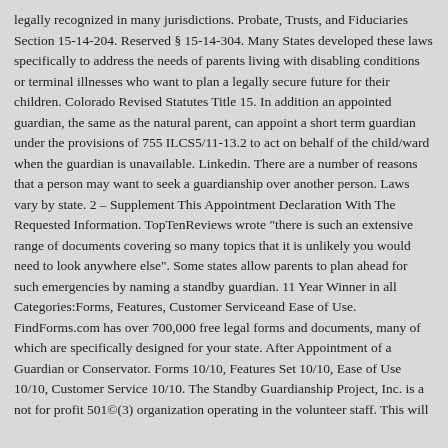legally recognized in many jurisdictions. Probate, Trusts, and Fiduciaries Section 15-14-204. Reserved § 15-14-304. Many States developed these laws specifically to address the needs of parents living with disabling conditions or terminal illnesses who want to plan a legally secure future for their children. Colorado Revised Statutes Title 15. In addition an appointed guardian, the same as the natural parent, can appoint a short term guardian under the provisions of 755 ILCS5/11-13.2 to act on behalf of the child/ward when the guardian is unavailable. Linkedin. There are a number of reasons that a person may want to seek a guardianship over another person. Laws vary by state. 2 – Supplement This Appointment Declaration With The Requested Information. TopTenReviews wrote "there is such an extensive range of documents covering so many topics that it is unlikely you would need to look anywhere else". Some states allow parents to plan ahead for such emergencies by naming a standby guardian. 11 Year Winner in all Categories:Forms, Features, Customer Serviceand Ease of Use. FindForms.com has over 700,000 free legal forms and documents, many of which are specifically designed for your state. After Appointment of a Guardian or Conservator. Forms 10/10, Features Set 10/10, Ease of Use 10/10, Customer Service 10/10. The Standby Guardianship Project, Inc. is a not for profit 501©(3) organization operating in the volunteer staff. This will...